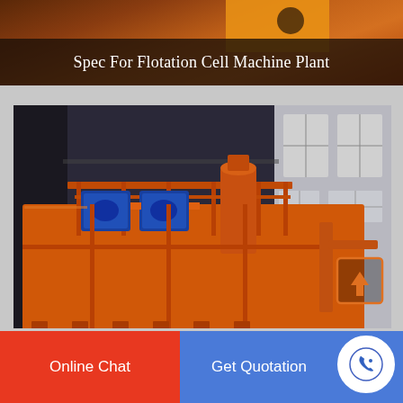Spec For Flotation Cell Machine Plant
[Figure (photo): Large orange flotation cell machine plant with blue electric motors on top, photographed inside an industrial warehouse facility]
Online Chat
Get Quotation